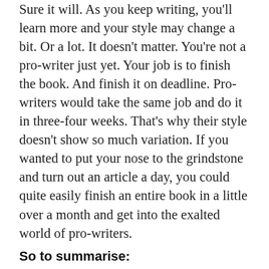Sure it will. As you keep writing, you'll learn more and your style may change a bit. Or a lot. It doesn't matter. You're not a pro-writer just yet. Your job is to finish the book. And finish it on deadline. Pro-writers would take the same job and do it in three-four weeks. That's why their style doesn't show so much variation. If you wanted to put your nose to the grindstone and turn out an article a day, you could quite easily finish an entire book in a little over a month and get into the exalted world of pro-writers.
So to summarise:
1) Get several books on your topic.
2) Get even more topics from their contents pages.
3) Now that you have a list of 5-10 topics, it's time